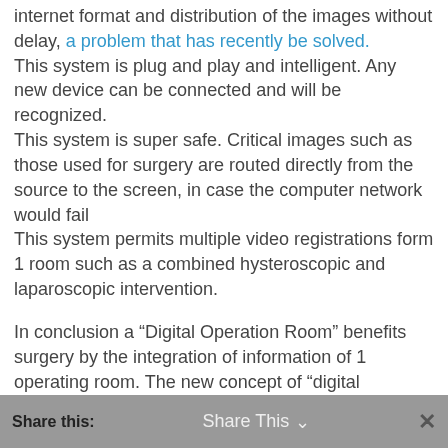internet format and distribution of the images without delay, a problem that has recently be solved. This system is plug and play and intelligent. Any new device can be connected and will be recognized. This system is super safe. Critical images such as those used for surgery are routed directly from the source to the screen, in case the computer network would fail This system permits multiple video registrations form 1 room such as a combined hysteroscopic and laparoscopic intervention.
In conclusion a “Digital Operation Room” benefits surgery by the integration of information of 1 operating room. The new concept of “digital operating room” over IP can integrate all operating rooms of an hospital. Because of its versatility, it will boost supervision and training. Finally emerging dedicated apps are improving the vision of the surgeon to distinguish specific tissues.
Philippe R. Koninckx
Share this:   Share This   ×